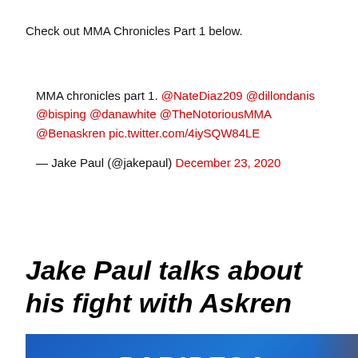Check out MMA Chronicles Part 1 below.
MMA chronicles part 1. @NateDiaz209 @dillondanis @bisping @danawhite @TheNotoriousMMA @Benaskren pic.twitter.com/4iySQW84LE
— Jake Paul (@jakepaul) December 23, 2020
Jake Paul talks about his fight with Askren
[Figure (screenshot): PARIPESA advertisement banner with blue background and white italic bold text, partial view of a woman on the right side]